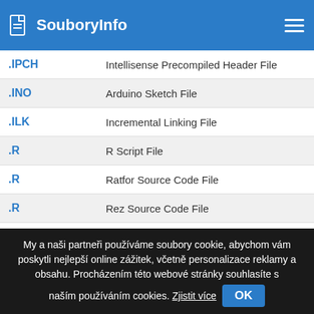SouboryInfo
| Extension | Description |
| --- | --- |
| .IPCH | Intellisense Precompiled Header File |
| .INO | Arduino Sketch File |
| .ILK | Incremental Linking File |
| .R | R Script File |
| .R | Ratfor Source Code File |
| .R | Rez Source Code File |
| .R | REBOL Script |
My a naši partneři používáme soubory cookie, abychom vám poskytli nejlepší online zážitek, včetně personalizace reklamy a obsahu. Procházením této webové stránky souhlasíte s naším používáním cookies. Zjistit více OK